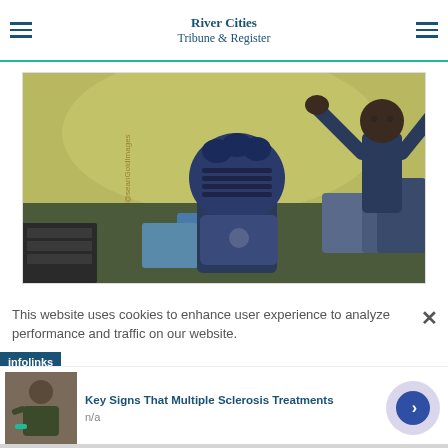River Cities Tribune & Register
[Figure (photo): Baseball/softball catcher in navy blue helmet gear crouching, with a coach in navy blue standing behind with arms raised, outdoor practice setting]
This website uses cookies to enhance user experience to analyze performance and traffic on our website.
infolinks
Key Signs That Multiple Sclerosis Treatments
n/a